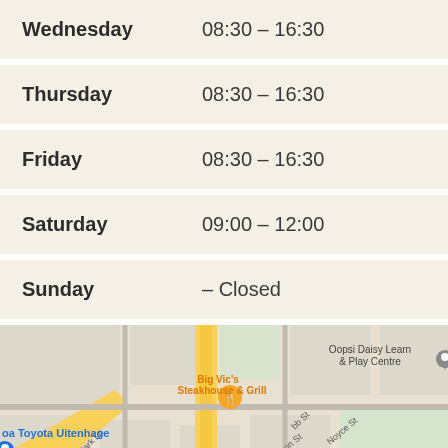| Day | Hours |
| --- | --- |
| Wednesday | 08:30 – 16:30 |
| Thursday | 08:30 – 16:30 |
| Friday | 08:30 – 16:30 |
| Saturday | 09:00 – 12:00 |
| Sunday | – Closed |
[Figure (map): Google Maps snippet showing the area around oa Toyota Uitenhage, Big Vic's Steakhouse & Grill, Oopsi Daisy Learn & Play Centre, with streets Park Ln, Cannon St, Noyce St visible and yellow roads crossing.]